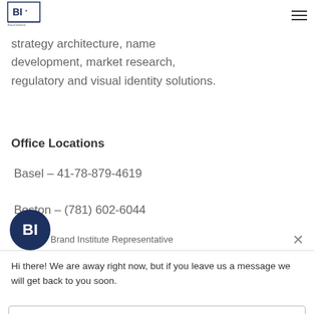[Figure (logo): Brand Institute logo — BI letters with tagline below]
strategy architecture, name development, market research, regulatory and visual identity solutions.
Office Locations
Basel – 41-78-879-4619
Boston – (781) 602-6044
[Figure (screenshot): Chat widget overlay with Brand Institute Representative avatar, message saying Hi there! We are away right now, but if you leave us a message we will get back to you soon., and a reply input field.]